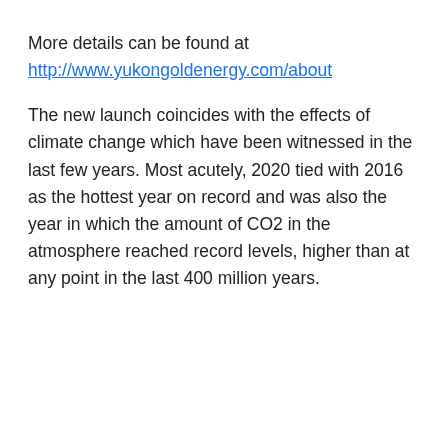More details can be found at
http://www.yukongoldenergy.com/about
The new launch coincides with the effects of climate change which have been witnessed in the last few years. Most acutely, 2020 tied with 2016 as the hottest year on record and was also the year in which the amount of CO2 in the atmosphere reached record levels, higher than at any point in the last 400 million years.